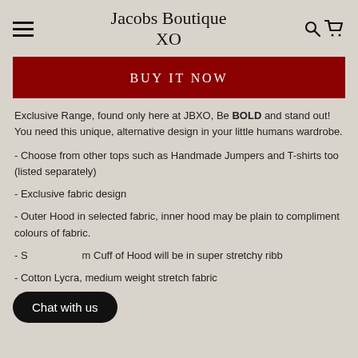Jacobs Boutique XO
[Figure (screenshot): Red BUY IT NOW button bar]
Exclusive Range, found only here at JBXO, Be BOLD and stand out! You need this unique, alternative design in your little humans wardrobe.
- Choose from other tops such as Handmade Jumpers and T-shirts too (listed separately)
- Exclusive fabric design
- Outer Hood in selected fabric, inner hood may be plain to compliment colours of fabric.
- S[...] Cuff of Hood will be in super stretchy ribb[...]
- Cotton Lycra, medium weight stretch fabric
[Figure (other): Chat with us button overlay]